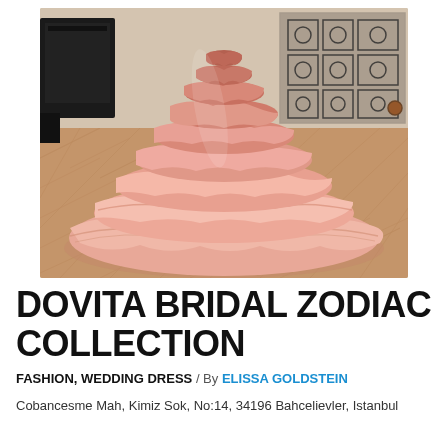[Figure (photo): A large, tiered pink/blush ruffled ball gown skirt spread out on a herringbone wooden floor, with ornate dark metal decorative screens and furniture in the background.]
DOVITA BRIDAL ZODIAC COLLECTION
FASHION, WEDDING DRESS / By ELISSA GOLDSTEIN
Cobancesme Mah, Kimiz Sok, No:14, 34196 Bahcelievler, Istanbul